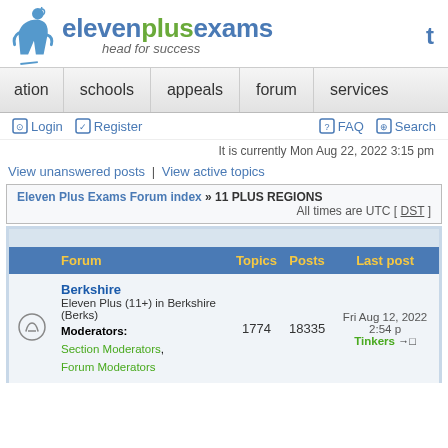[Figure (logo): Eleven Plus Exams logo with figure icon and tagline 'head for success']
ation | schools | appeals | forum | services
Login  Register  FAQ  Search
It is currently Mon Aug 22, 2022 3:15 pm
View unanswered posts | View active topics
Eleven Plus Exams Forum index » 11 PLUS REGIONS
All times are UTC [ DST ]
|  | Forum | Topics | Posts | Last post |
| --- | --- | --- | --- | --- |
| [icon] | Berkshire
Eleven Plus (11+) in Berkshire (Berks)
Moderators: Section Moderators, Forum Moderators | 1774 | 18335 | Fri Aug 12, 2022 2:54 p
Tinkers → |